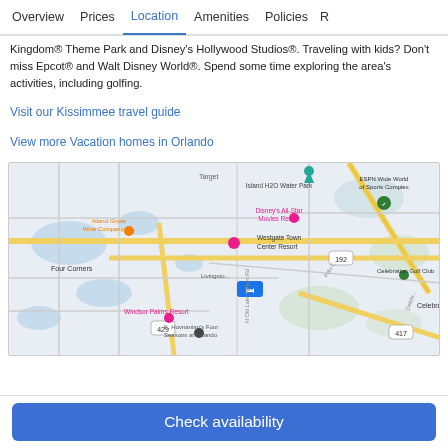Overview | Prices | Location | Amenities | Policies | R...
Kingdom® Theme Park and Disney's Hollywood Studios®. Traveling with kids? Don't miss Epcot® and Walt Disney World®. Spend some time exploring the area's activities, including golfing.
Visit our Kissimmee travel guide
View more Vacation homes in Orlando
[Figure (map): Google Maps view showing the area around Kissimmee/Orlando Florida, including landmarks: Island H2O Water Park, ESPN Wide World of Sports Complex, Disney's All-Star Movies Resort, Island Grove Wine Company, Westgate Town Center Resort, Four Corners, Windsor Palms Resort, K. Hovnanian's Four Seasons at Orlando, Celebration Golf Club, Celebration. Roads including 192, 429, 417 visible. A blue hotel marker at center.]
Check availability